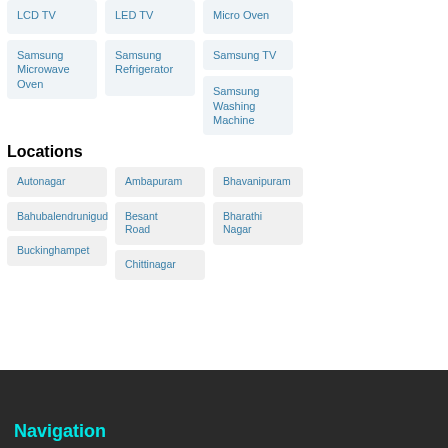LCD TV
LED TV
Micro Oven
Samsung Microwave Oven
Samsung Refrigerator
Samsung TV
Samsung Washing Machine
Locations
Autonagar
Ambapuram
Bhavanipuram
Bahubalendrunigud
Besant Road
Bharathi Nagar
Buckinghampet
Chittinagar
Navigation